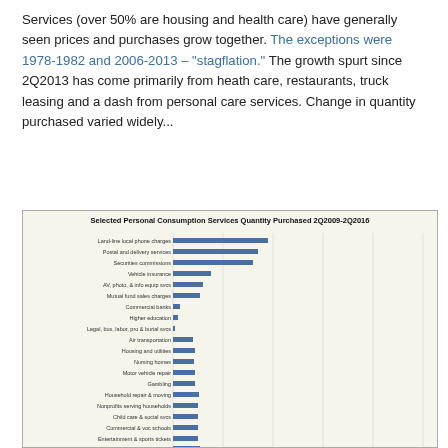Services (over 50% are housing and health care) have generally seen prices and purchases grow together. The exceptions were 1978-1982 and 2006-2013 – "stagflation." The growth spurt since 2Q2013 has come primarily from heath care, restaurants, truck leasing and a dash from personal care services. Change in quantity purchased varied widely...
[Figure (bar-chart): Selected Personal Consumption Services Quantity Purchased 2Q2009-2Q2016]